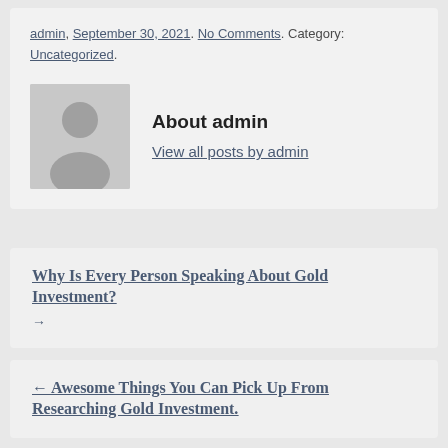admin, September 30, 2021. No Comments. Category: Uncategorized.
About admin
View all posts by admin
Why Is Every Person Speaking About Gold Investment? →
← Awesome Things You Can Pick Up From Researching Gold Investment.